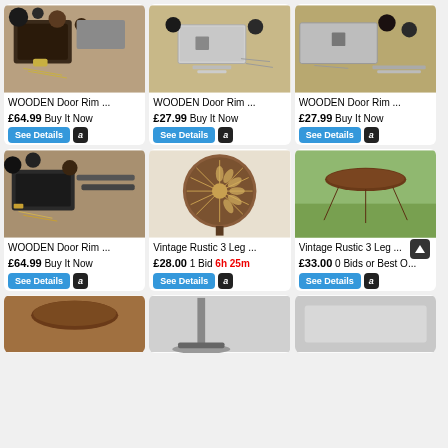[Figure (photo): Wooden door rim lock set with black knobs and keys - item 1]
WOODEN Door Rim ...
£64.99 Buy It Now
[Figure (photo): Wooden door rim lock set with chrome/silver hardware - item 2]
WOODEN Door Rim ...
£27.99 Buy It Now
[Figure (photo): Wooden door rim lock set similar chrome hardware - item 3]
WOODEN Door Rim ...
£27.99 Buy It Now
[Figure (photo): Wooden door rim lock set black cast iron - item 4]
WOODEN Door Rim ...
£64.99 Buy It Now
[Figure (photo): Vintage rustic 3-leg wooden stool with inlaid top]
Vintage Rustic 3 Leg ...
£28.00 1 Bid 6h 25m
[Figure (photo): Vintage rustic 3-legged wooden stool outdoors on grass]
Vintage Rustic 3 Leg ...
£33.00 0 Bids or Best O...
[Figure (photo): Partial view of wooden stool top - bottom row item 1]
[Figure (photo): Partial view of wooden stool base - bottom row item 2]
[Figure (photo): Partial view of grey/metal item - bottom row item 3]